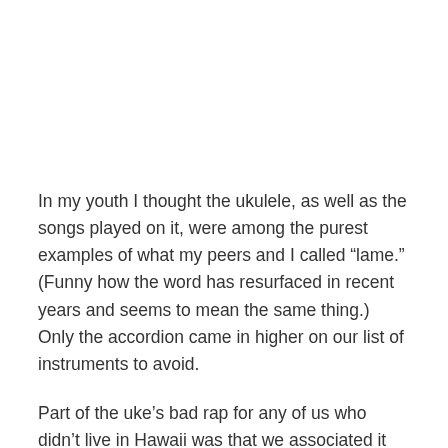In my youth I thought the ukulele, as well as the songs played on it, were among the purest examples of what my peers and I called “lame.”  (Funny how the word has resurfaced in recent years and seems to mean the same thing.) Only the accordion came in higher on our list of instruments to avoid.
Part of the uke’s bad rap for any of us who didn’t live in Hawaii was that we associated it with the only Hawaiian song we’d ever heard: “Tiny Bubbles.” And where was “Tiny Bubbles” performed? In night clubs overflowing with